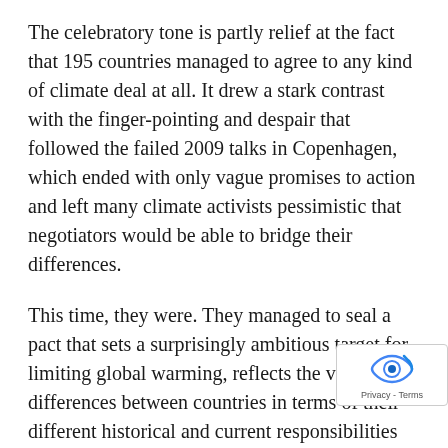The celebratory tone is partly relief at the fact that 195 countries managed to agree to any kind of climate deal at all. It drew a stark contrast with the finger-pointing and despair that followed the failed 2009 talks in Copenhagen, which ended with only vague promises to action and left many climate activists pessimistic that negotiators would be able to bridge their differences.
This time, they were. They managed to seal a pact that sets a surprisingly ambitious target for limiting global warming, reflects the vast differences between countries in terms of their different historical and current responsibilities for causing climate change, and recognizes poorer countries' need to eradicate poverty even as they embark on a more sustainable development p...
Unfortunately, however, the main text of the agreement is long on rhetoric and short on action...